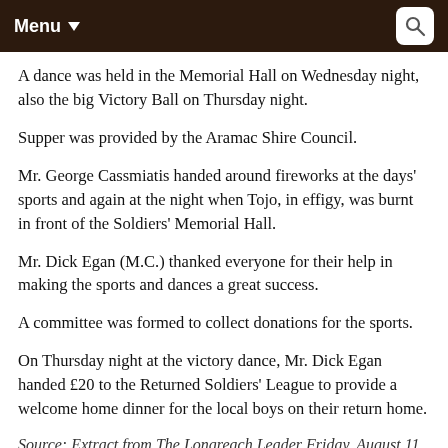Menu
A dance was held in the Memorial Hall on Wednesday night, also the big Victory Ball on Thursday night.
Supper was provided by the Aramac Shire Council.
Mr. George Cassmiatis handed around fireworks at the days' sports and again at the night when Tojo, in effigy, was burnt in front of the Soldiers' Memorial Hall.
Mr. Dick Egan (M.C.) thanked everyone for their help in making the sports and dances a great success.
A committee was formed to collect donations for the sports.
On Thursday night at the victory dance, Mr. Dick Egan handed £20 to the Returned Soldiers' League to provide a welcome home dinner for the local boys on their return home.
Source: Extract from The Longreach Leader Friday, August 11, 1995